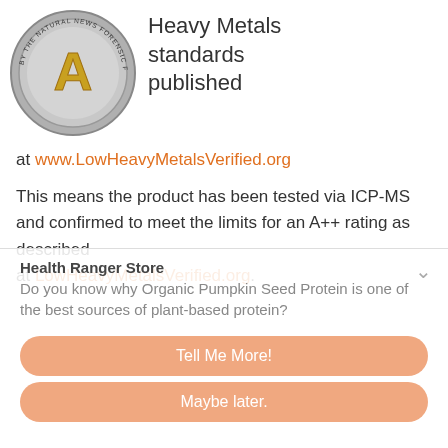[Figure (logo): Circular silver medal with gold letter A and text 'BY THE NATURAL NEWS FORENSIC FOOD LAB' around the edge]
Heavy Metals standards published
at www.LowHeavyMetalsVerified.org
This means the product has been tested via ICP-MS and confirmed to meet the limits for an A++ rating as described at LowHeavyMetalsVerified.org.
Health Ranger Store
Do you know why Organic Pumpkin Seed Protein is one of the best sources of plant-based protein?
Tell Me More!
Maybe later.